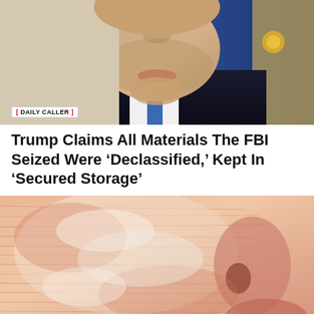[Figure (photo): Close-up photo of a man in a dark suit, face partially visible from the nose down, with a serious expression. A watermark badge reading 'DAILY CALLER' appears at the bottom left of the image.]
Trump Claims All Materials The FBI Seized Were ‘Declassified,’ Kept In ‘Secured Storage’
[Figure (photo): Extreme close-up of a human face/cheek with visible skin texture, redness, and peeling or exfoliating layers of skin.]
Doctors Stunned: This Removes